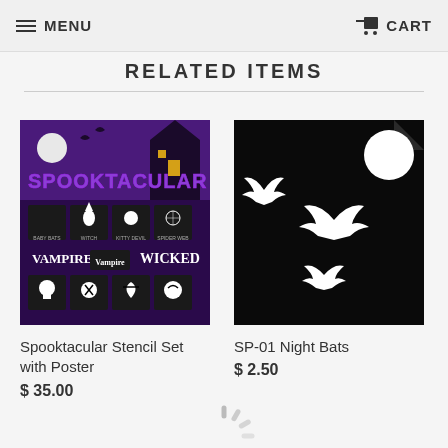MENU  CART
RELATED ITEMS
[Figure (photo): Spooktacular Stencil Set with Poster product image showing Halloween stencil designs on purple background with ghosts, vampires, bats, spider, witch, cat]
Spooktacular Stencil Set with Poster
$ 35.00
[Figure (photo): SP-01 Night Bats stencil product image showing white bat silhouettes on black background with full moon]
SP-01 Night Bats
$ 2.50